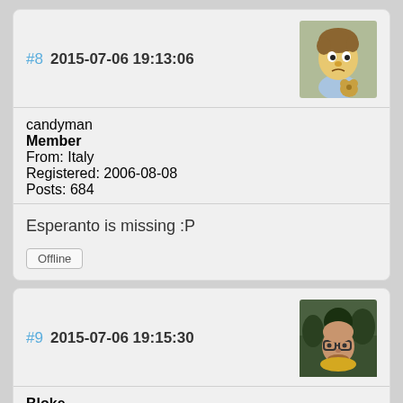#8  2015-07-06 19:13:06
candyman
Member
From: Italy
Registered: 2006-08-08
Posts: 684
[Figure (illustration): Cartoon avatar of a Simpsons-style character holding a bear]
Esperanto is missing :P
Offline
#9  2015-07-06 19:15:30
Bloke
Developer
From: Leeds, UK
Registered: 2006-01-2...
[Figure (photo): Photo avatar of a man with glasses outdoors]